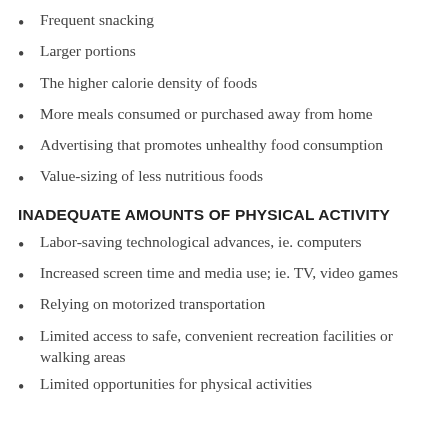Frequent snacking
Larger portions
The higher calorie density of foods
More meals consumed or purchased away from home
Advertising that promotes unhealthy food consumption
Value-sizing of less nutritious foods
INADEQUATE AMOUNTS OF PHYSICAL ACTIVITY
Labor-saving technological advances, ie. computers
Increased screen time and media use; ie. TV, video games
Relying on motorized transportation
Limited access to safe, convenient recreation facilities or walking areas
Limited opportunities for physical activities